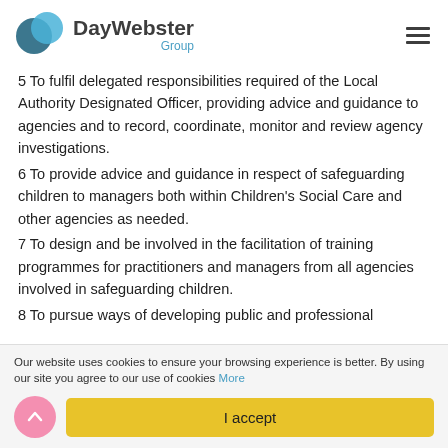[Figure (logo): DayWebster Group logo with two overlapping circles (dark blue and light blue) and text 'DayWebster Group']
5 To fulfil delegated responsibilities required of the Local Authority Designated Officer, providing advice and guidance to agencies and to record, coordinate, monitor and review agency investigations.
6 To provide advice and guidance in respect of safeguarding children to managers both within Children's Social Care and other agencies as needed.
7 To design and be involved in the facilitation of training programmes for practitioners and managers from all agencies involved in safeguarding children.
8 To pursue ways of developing public and professional
Our website uses cookies to ensure your browsing experience is better. By using our site you agree to our use of cookies More
I accept